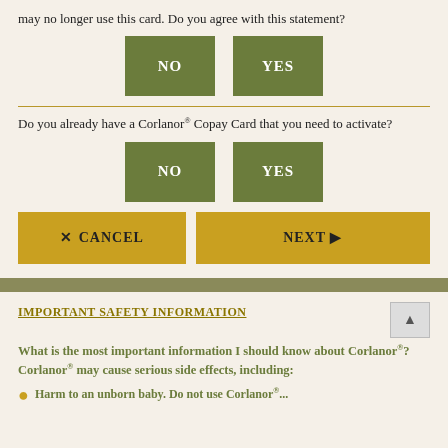may no longer use this card. Do you agree with this statement?
[Figure (other): Two green buttons labeled NO and YES side by side]
Do you already have a Corlanor® Copay Card that you need to activate?
[Figure (other): Two green buttons labeled NO and YES side by side]
[Figure (other): CANCEL button (gold) on the left and NEXT button (gold) on the right]
IMPORTANT SAFETY INFORMATION
What is the most important information I should know about Corlanor®? Corlanor® may cause serious side effects, including:
Harm to an unborn baby. Do not use Corlanor...